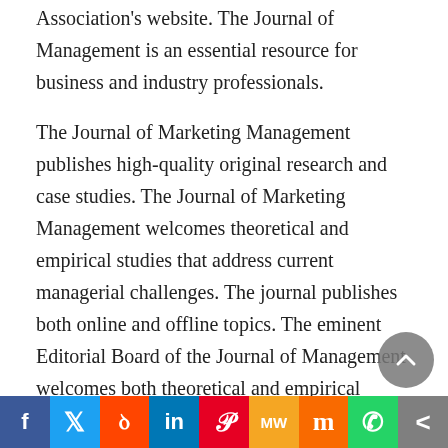Association's website. The Journal of Management is an essential resource for business and industry professionals.
The Journal of Marketing Management publishes high-quality original research and case studies. The Journal of Marketing Management welcomes theoretical and empirical studies that address current managerial challenges. The journal publishes both online and offline topics. The eminent Editorial Board of the Journal of Management welcomes both theoretical and empirical contributions. The Journal of Marketing Management is published online. Moreover, it has a digital platform that allows its articles to be freely